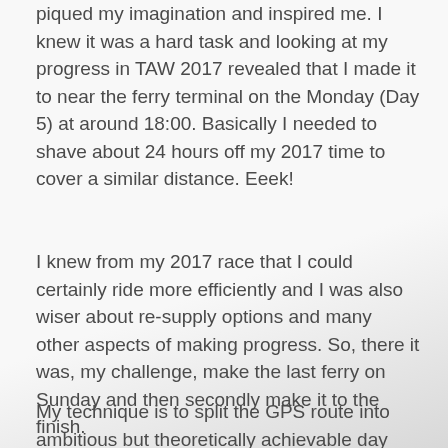piqued my imagination and inspired me. I knew it was a hard task and looking at my progress in TAW 2017 revealed that I made it to near the ferry terminal on the Monday (Day 5) at around 18:00. Basically I needed to shave about 24 hours off my 2017 time to cover a similar distance. Eeek!
I knew from my 2017 race that I could certainly ride more efficiently and I was also wiser about re-supply options and many other aspects of making progress. So, there it was, my challenge, make the last ferry on Sunday and then secondly make it to the finish.
My technique is to split the GPS route into ambitious but theoretically achievable day lengths to reduce... Ride With GPS for planning